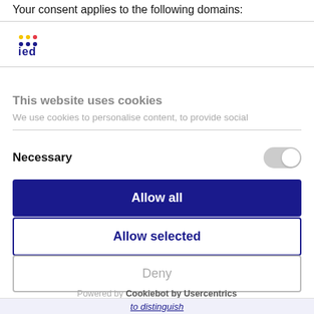Your consent applies to the following domains:
[Figure (logo): IED logo with colorful dots and blue 'ied' text]
This website uses cookies
We use cookies to personalise content, to provide social
Necessary
Allow all
Allow selected
Deny
Powered by Cookiebot by Usercentrics
to distinguish